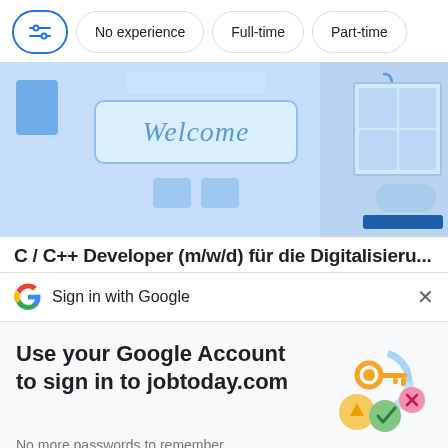[Figure (screenshot): Filter bar with icon button, No experience, Full-time, Part-time filter chips]
[Figure (illustration): Welcome banner illustration with blue background, showing a welcome sign, building elements, and office scene]
C / C++ Developer (m/w/d) für die Digitalisieru...
[Figure (logo): Google G logo]
Sign in with Google
Use your Google Account to sign in to jobtoday.com
No more passwords to remember.
Signing in is fast, simple and secure.
[Figure (illustration): Google sign-in key and secure sign-in illustration with golden key and colorful circles]
Continue